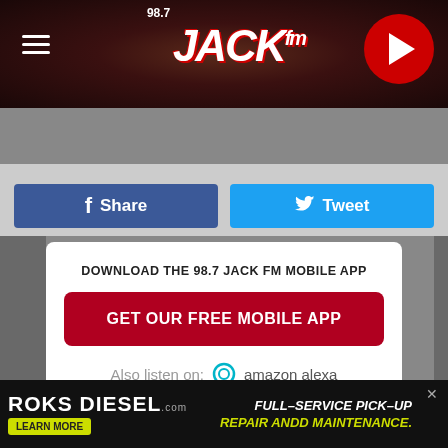[Figure (logo): 98.7 JACK fm radio station logo in header with dark background]
LISTEN NOW ▶  98.7 JACK FM (KTXN FM)
f Share
Tweet
DOWNLOAD THE 98.7 JACK FM MOBILE APP
GET OUR FREE MOBILE APP
Also listen on:  amazon alexa
[Figure (screenshot): ROKS DIESEL advertisement banner - Full-Service Pick-Up Repair and Maintenance]